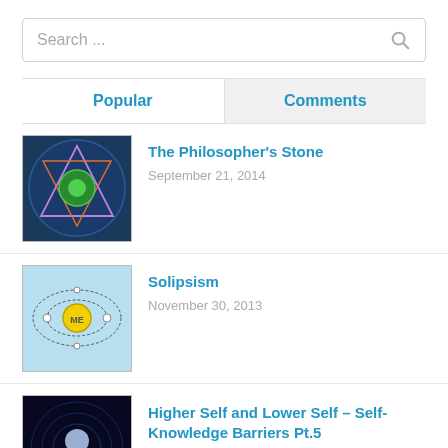Search ...
Popular
Comments
[Figure (illustration): Mystic/alchemical image with triangles and green orb]
The Philosopher's Stone
September 21, 2014
[Figure (illustration): Solipsism diagram with ME at center and orbiting circles]
Solipsism
November 30, 2013
[Figure (illustration): Human figure with cosmic/energy background]
Higher Self and Lower Self – Self-Knowledge Barriers Pt.5
February 10, 2014